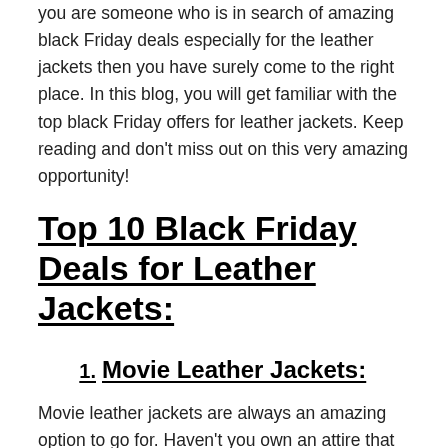you are someone who is in search of amazing black Friday deals especially for the leather jackets then you have surely come to the right place. In this blog, you will get familiar with the top black Friday offers for leather jackets. Keep reading and don't miss out on this very amazing opportunity!
Top 10 Black Friday Deals for Leather Jackets:
1. Movie Leather Jackets:
Movie leather jackets are always an amazing option to go for. Haven't you own an attire that was inspired by your favorite movie character.
Remember the days of your school where you'd want to